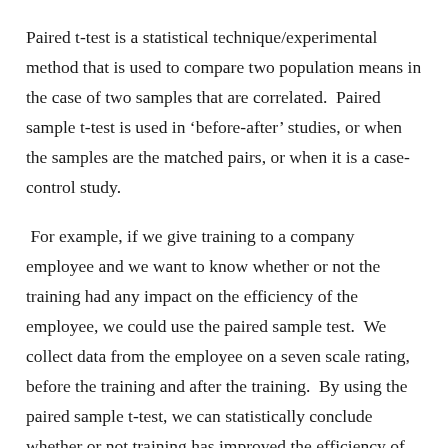Paired t-test is a statistical technique/experimental method that is used to compare two population means in the case of two samples that are correlated.  Paired sample t-test is used in 'before-after' studies, or when the samples are the matched pairs, or when it is a case-control study.
For example, if we give training to a company employee and we want to know whether or not the training had any impact on the efficiency of the employee, we could use the paired sample test.  We collect data from the employee on a seven scale rating, before the training and after the training.  By using the paired sample t-test, we can statistically conclude whether or not training has improved the efficiency of the employee.  In medicine, by using the paired sample t-test, we can figure out whether or